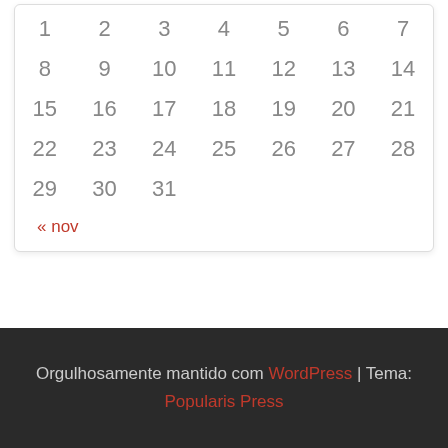| 1 | 2 | 3 | 4 | 5 | 6 | 7 |
| 8 | 9 | 10 | 11 | 12 | 13 | 14 |
| 15 | 16 | 17 | 18 | 19 | 20 | 21 |
| 22 | 23 | 24 | 25 | 26 | 27 | 28 |
| 29 | 30 | 31 |  |  |  |  |
« nov
Orgulhosamente mantido com WordPress | Tema: Popularis Press